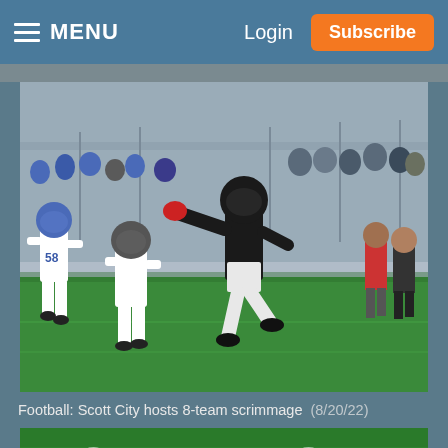MENU   Login   Subscribe
[Figure (photo): Football action photo: A player in a black uniform and helmet stiff-arms a defender in white uniform (#58) during a game, with crowd visible in the background on a turf field.]
Football: Scott City hosts 8-team scrimmage  (8/20/22)
[Figure (photo): Partial image of a sports graphic/poster showing the word GRIDIRON in large white bold text over a green turf background, with a partial view of a person's head.]